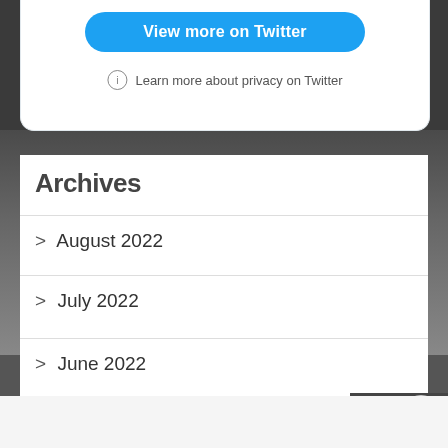[Figure (screenshot): Twitter embedded widget with 'View more on Twitter' button and 'Learn more about privacy on Twitter' link]
Archives
> August 2022
> July 2022
> June 2022
Advertisements
[Figure (other): Bloomingdale's advertisement banner: 'View Today's Top Deals!' with SHOP NOW button and model photo]